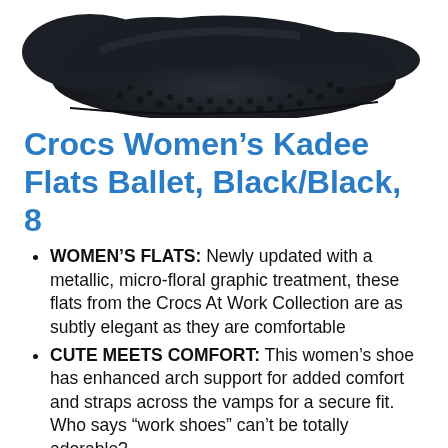[Figure (photo): Bottom/sole view of a dark navy/black Crocs Women's Kadee Flats Ballet shoe, showing the textured rubber sole, photographed from below at a slight angle against a white background.]
Crocs Women’s Kadee Flats Ballet, Black/Black, 8
WOMEN’S FLATS: Newly updated with a metallic, micro-floral graphic treatment, these flats from the Crocs At Work Collection are as subtly elegant as they are comfortable
CUTE MEETS COMFORT: This women’s shoe has enhanced arch support for added comfort and straps across the vamps for a secure fit. Who says “work shoes” can’t be totally adorable?
WHAT SIZE SHOULD I BUY?: These women’s flats offer a relaxed fit and